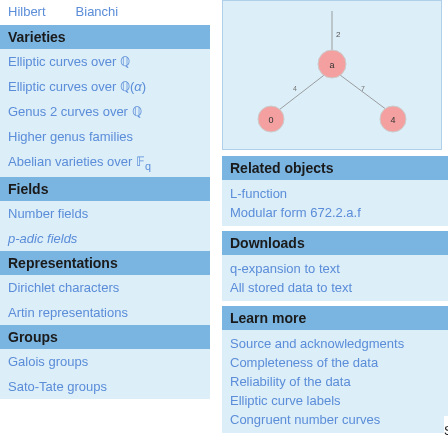Hilbert   Bianchi
Varieties
Elliptic curves over ℚ
Elliptic curves over ℚ(α)
Genus 2 curves over ℚ
Higher genus families
Abelian varieties over 𝔽_q
Fields
Number fields
p-adic fields
Representations
Dirichlet characters
Artin representations
Groups
Galois groups
Sato-Tate groups
[Figure (network-graph): A network graph showing nodes labeled 2, a, 0, and 4 connected by edges, forming a tree-like structure with node 'a' in the center.]
Related objects
L-function
Modular form 672.2.a.f
Downloads
q-expansion to text
All stored data to text
Learn more
Source and acknowledgments
Completeness of the data
Reliability of the data
Elliptic curve labels
Congruent number curves
Show commands: SageMath